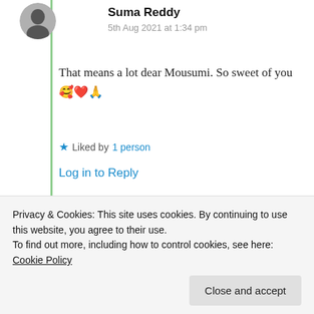Suma Reddy
5th Aug 2021 at 1:34 pm
That means a lot dear Mousumi. So sweet of you 🥰❤️🙏
★ Liked by 1 person
Log in to Reply
KK
5th Aug 2021 at 1:22 pm
Privacy & Cookies: This site uses cookies. By continuing to use this website, you agree to their use. To find out more, including how to control cookies, see here: Cookie Policy
Close and accept
of you 🙏🍀❤️